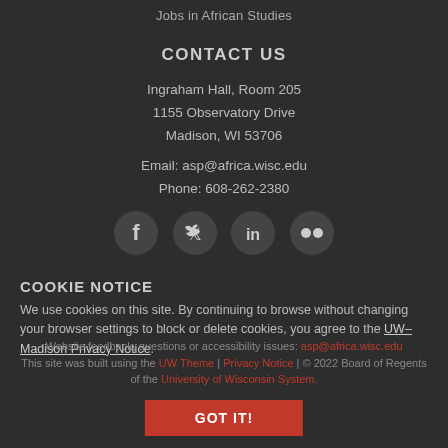Jobs in African Studies
CONTACT US
Ingraham Hall, Room 205
1155 Observatory Drive
Madison, WI 53706
Email: asp@africa.wisc.edu
Phone: 608-262-2380
[Figure (other): Social media icons: Facebook, Twitter, LinkedIn, Flickr]
COOKIE NOTICE
We use cookies on this site. By continuing to browse without changing your browser settings to block or delete cookies, you agree to the UW–Madison Privacy Notice.
This site was built using the UW Theme | Privacy Notice | © 2022 Board of Regents of the University of Wisconsin System.
GOT IT!